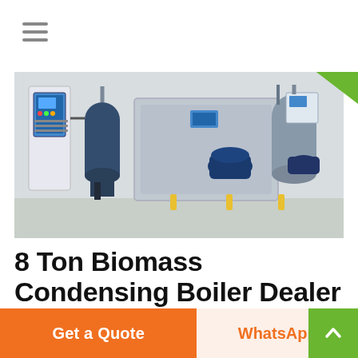[Figure (photo): Industrial biomass condensing boilers with blue pump units, control panels, and yellow pipe fittings installed in a factory setting]
8 Ton Biomass Condensing Boiler Dealer Russia
industrial 8 ton condensing hot water boiler price. industrial horizontal hot water price Crest Renew...